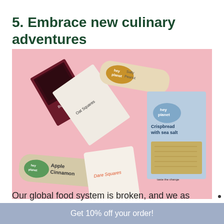5. Embrace new culinary adventures
[Figure (photo): Pink background with various food product packages floating: Hey Planet Apple Cinnamon bar, Hey Planet Salty Peanut bar, Hey Planet Crispbread with sea salt packet, a white packet labeled Dare Squares, and a dark package. Various insect-based food products.]
Our global food system is broken, and we as consumers can do a lot to support initiatives that
Get 10% off your order!